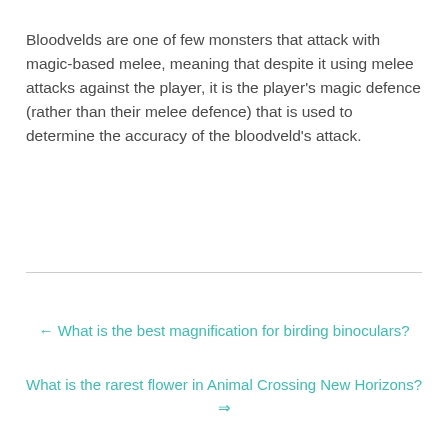Bloodvelds are one of few monsters that attack with magic-based melee, meaning that despite it using melee attacks against the player, it is the player's magic defence (rather than their melee defence) that is used to determine the accuracy of the bloodveld's attack.
← What is the best magnification for birding binoculars?
What is the rarest flower in Animal Crossing New Horizons? ⇒